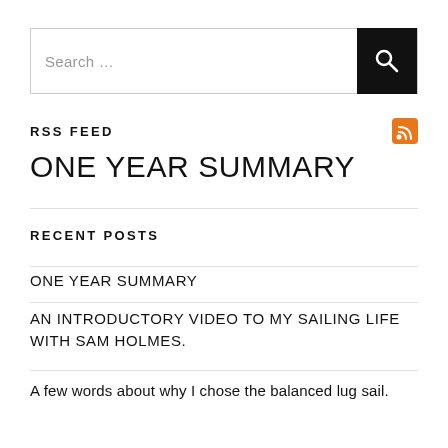[Figure (other): Search bar with text input field and black search button with magnifying glass icon]
RSS FEED
ONE YEAR SUMMARY
RECENT POSTS
ONE YEAR SUMMARY
AN INTRODUCTORY VIDEO TO MY SAILING LIFE WITH SAM HOLMES.
A few words about why I chose the balanced lug sail.